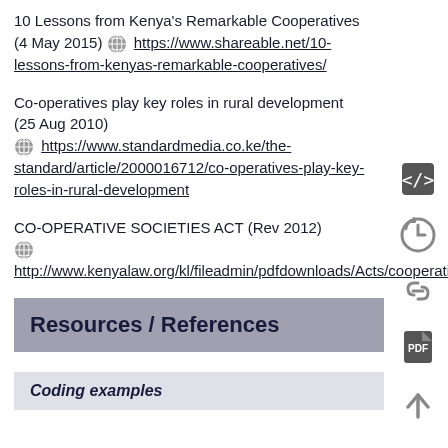10 Lessons from Kenya's Remarkable Cooperatives (4 May 2015) https://www.shareable.net/10-lessons-from-kenyas-remarkable-cooperatives/
Co-operatives play key roles in rural development (25 Aug 2010) https://www.standardmedia.co.ke/the-standard/article/2000016712/co-operatives-play-key-roles-in-rural-development
CO-OPERATIVE SOCIETIES ACT (Rev 2012) http://www.kenyalaw.org/kl/fileadmin/pdfdownloads/Acts/cooperativeSocietiesActCap490.pdf
Resources / References
Coding examples